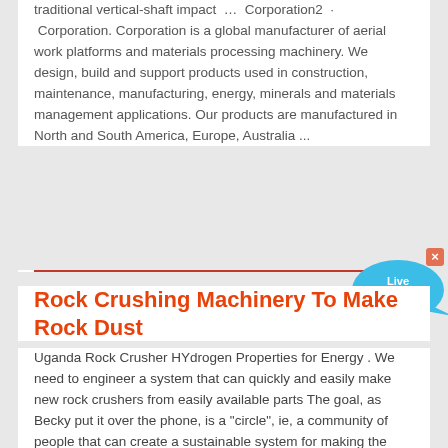traditional vertical-shaft impact … Corporation2 · Corporation. Corporation is a global manufacturer of aerial work platforms and materials processing machinery. We design, build and support products used in construction, maintenance, manufacturing, energy, minerals and materials management applications. Our products are manufactured in North and South America, Europe, Australia ...
[Figure (other): Live Chat speech bubble widget in cyan/blue color with 'Live Chat' text and a close (x) button]
Rock Crushing Machinery To Make Rock Dust
Uganda Rock Crusher HYdrogen Properties for Energy . We need to engineer a system that can quickly and easily make new rock crushers from easily available parts The goal, as Becky put it over the phone, is a "circle", ie, a community of people that can create a sustainable system for making the machines, servicing the machines, using the machines, and owning the rock …Home - Baldor ABB"s Baldor-Reliance Severe Duty XT motor is a true severe duty motor that bridges the gap between the Baldor-Reliance General Purpose and XEX premium severe duty motor lines. Dodge CR housing installation Hint… Quick disconnects to CR housing